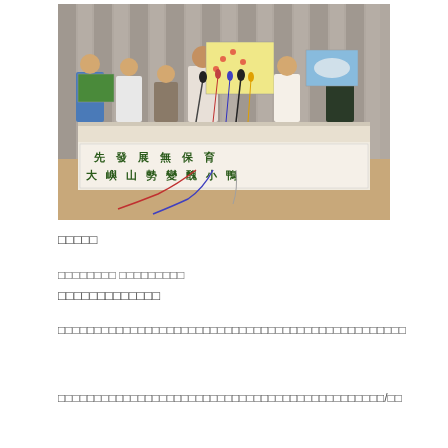[Figure (photo): Press conference photo showing six people standing behind a table with a white banner that reads '先發展無保育 大嶼山勢變醜小鴨' in large Chinese characters. Microphones are on the table, and participants hold wildlife/nature photos and maps. WWF logo visible on one person's shirt.]
□□□□□
□□□□□□□□ □□□□□□□□□
□□□□□□□□□□□□□
□□□□□□□□□□□□□□□□□□□□□□□□□□□□□□□□□□□□□□□□□□□□□□□□
□□□□□□□□□□□□□□□□□□□□□□□□□□□□□□□□□□□□□□□□□□□□□/□□